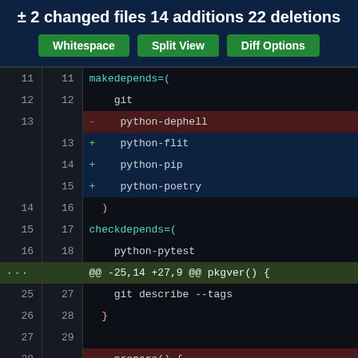± 2 changed files 14 additions 22 deletions
[Figure (screenshot): Git diff view with Whitespace, Split View, Diff Options buttons and code diff showing makedepends and checkdepends changes]
makedepends=(
git
- python-dephell
+ python-flit
+ python-pip
+ python-poetry
)
checkdepends=(
python-pytest
@@ -25,14 +27,9 @@ pkgver() {
git describe --tags
}
- prepare() {
-   cd tomli-w
-   dephell deps convert --from pyproject.toml --to setup.py